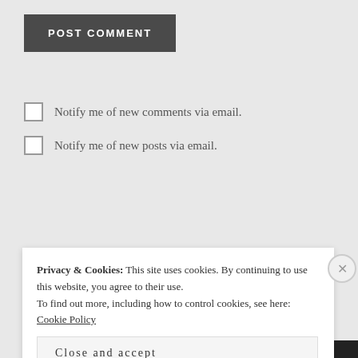POST COMMENT
Notify me of new comments via email.
Notify me of new posts via email.
PREVIOUS
One Employed Dragonlady
Privacy & Cookies: This site uses cookies. By continuing to use this website, you agree to their use. To find out more, including how to control cookies, see here: Cookie Policy
Close and accept